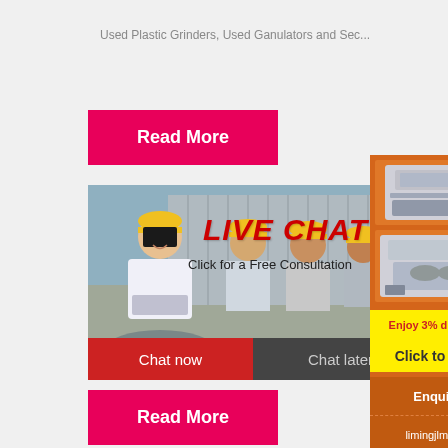Used Plastic Grinders, Used Ganulators and Sec...
[Figure (other): Pink/red 'Read More' button]
[Figure (other): Live chat popup with workers in hard hats background, showing 'LIVE CHAT', 'Click for a Free Consultation', 'Chat now' and 'Chat later' buttons, and a close X button]
[Figure (other): Orange sidebar advertisement panel showing mining/crushing machinery images, yellow 'Enjoy 3% discount' banner, yellow 'Click to Chat' button, 'Enquiry' section, and email 'limingjlmofen@sina.com']
[Figure (other): Pink/red 'Read More' button at bottom]